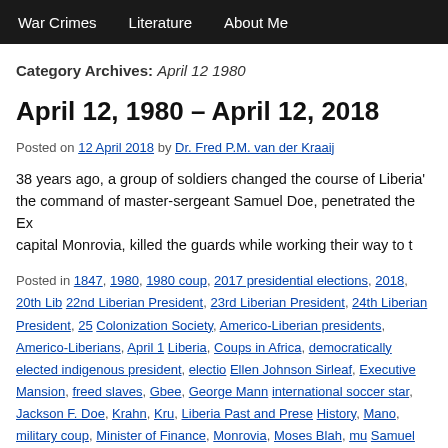War Crimes   Literature   About Me
Category Archives: April 12 1980
April 12, 1980 – April 12, 2018
Posted on 12 April 2018 by Dr. Fred P.M. van der Kraaij
38 years ago, a group of soldiers changed the course of Liberia's the command of master-sergeant Samuel Doe, penetrated the Ex capital Monrovia, killed the guards while working their way to t
Posted in 1847, 1980, 1980 coup, 2017 presidential elections, 2018, 20th Lib 22nd Liberian President, 23rd Liberian President, 24th Liberian President, 25 Colonization Society, Americo-Liberian presidents, Americo-Liberians, April 1 Liberia, Coups in Africa, democratically elected indigenous president, electio Ellen Johnson Sirleaf, Executive Mansion, freed slaves, Gbee, George Mann international soccer star, Jackson F. Doe, Krahn, Kru, Liberia Past and Prese History, Mano, military coup, Minister of Finance, Monrovia, Moses Blah, mu Samuel Kanyon Doe, Second civil war 1999-2003, Sherman, Sierra Leone, S R. Tolbert Jr. | Leave a comment